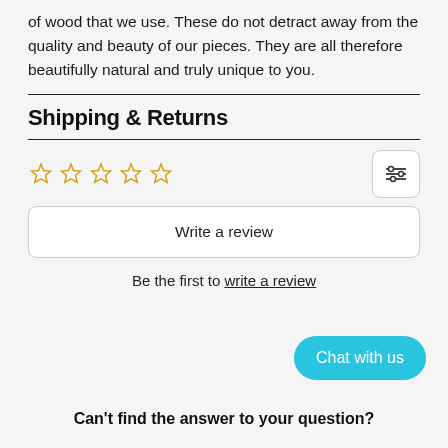of wood that we use. These do not detract away from the quality and beauty of our pieces. They are all therefore beautifully natural and truly unique to you.
Shipping & Returns
[Figure (other): Five empty star rating icons in gold/yellow outline]
Write a review
Be the first to write a review
Chat with us
Can't find the answer to your question?